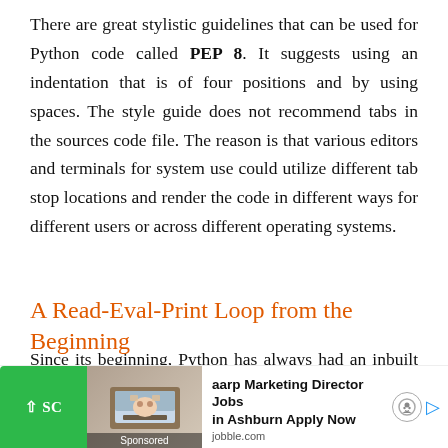There are great stylistic guidelines that can be used for Python code called PEP 8. It suggests using an indentation that is of four positions and by using spaces. The style guide does not recommend tabs in the sources code file. The reason is that various editors and terminals for system use could utilize different tab stop locations and render the code in different ways for different users or across different operating systems.
A Read-Eval-Print Loop from the Beginning
Since its beginning, Python has always had an inbuilt read-eval-print loop (REPL). The REPL examines the shortest complete expression, [partially obscured by ad]
[Figure (other): Advertisement banner at bottom of page: green scroll-up button, photo of person at laptop, text 'aarp Marketing Director Jobs in Ashburn Apply Now' from jobble.com, with smiley face icon and blue play button]